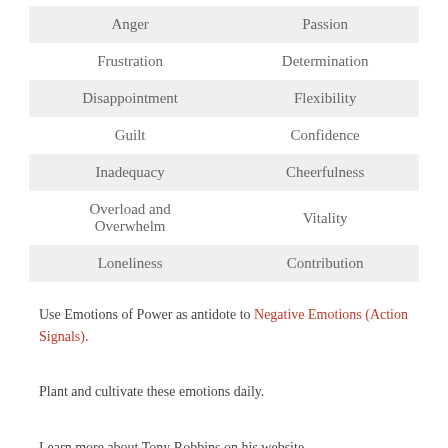| Negative Emotion | Emotion of Power |
| --- | --- |
| Anger | Passion |
| Frustration | Determination |
| Disappointment | Flexibility |
| Guilt | Confidence |
| Inadequacy | Cheerfulness |
| Overload and Overwhelm | Vitality |
| Loneliness | Contribution |
Use Emotions of Power as antidote to Negative Emotions (Action Signals).
Plant and cultivate these emotions daily.
Learn more about Tony Robbins on his website http://www.tonyrobbins.com